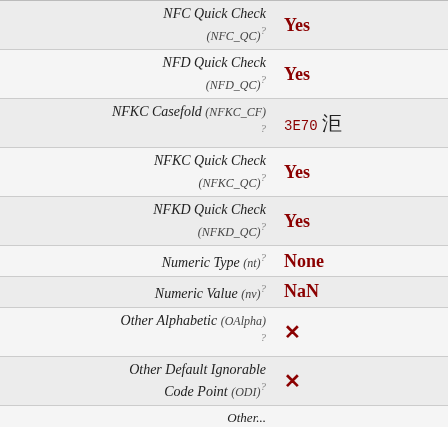| Property | Value |
| --- | --- |
| NFC Quick Check (NFC_QC) ? | Yes |
| NFD Quick Check (NFD_QC) ? | Yes |
| NFKC Casefold (NFKC_CF) ? | 3E70 洰 |
| NFKC Quick Check (NFKC_QC) ? | Yes |
| NFKD Quick Check (NFKD_QC) ? | Yes |
| Numeric Type (nt) ? | None |
| Numeric Value (nv) ? | NaN |
| Other Alphabetic (OAlpha) ? | ✗ |
| Other Default Ignorable Code Point (ODI) ? | ✗ |